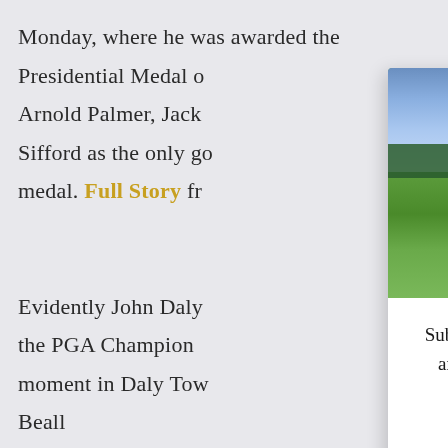Monday, where he was awarded the Presidential Medal o[f Freedom alongside] Arnold Palmer, Jack [Nicklaus and Charlie] Sifford as the only go[lfers to receive the] medal. Full Story fr[om …]
Evidently John Daly [won his second major at] the PGA Champion[ship. Read about a key] moment in Daly Tow[n … by] Beall
Chris Kirk announce[d that he] will be taking a leave [of absence …]
[Figure (photo): Aerial photograph of a golf course with green fairways, sand bunkers, and a tree line in the background under a cloudy sky]
Subscribe to the Fried Egg Newsletter for succinct updates and pithy analysis every MWF on competitive golf and course architecture.
Enter your em[ail]